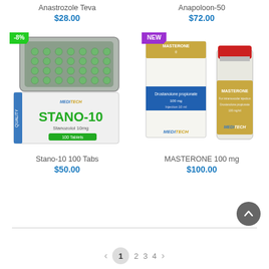Anastrozole Teva
$28.00
Anapoloon-50
$72.00
[Figure (photo): Stano-10 100 Tabs product image — blister pack of green tablets and white box labeled STANO-10 Stanozolol 10mg 100 Tablets by Meditech, with a -8% green badge]
[Figure (photo): MASTERONE 100 mg product image — white box labeled Masterone Drostanolone propionate 100mg Injection 10ml by Meditech, and a vial with red cap, labeled Masterone by Meditech, with a NEW purple badge]
Stano-10 100 Tabs
$50.00
MASTERONE 100 mg
$100.00
1  2  3  4